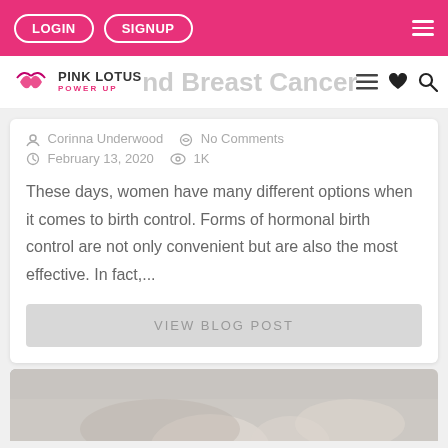LOGIN | SIGNUP
PINK LOTUS POWER UP — and Breast Cancer
Corinna Underwood   No Comments   February 13, 2020   1K
These days, women have many different options when it comes to birth control. Forms of hormonal birth control are not only convenient but are also the most effective. In fact,...
VIEW BLOG POST
[Figure (photo): Bottom portion of page showing a photo thumbnail, partially visible]